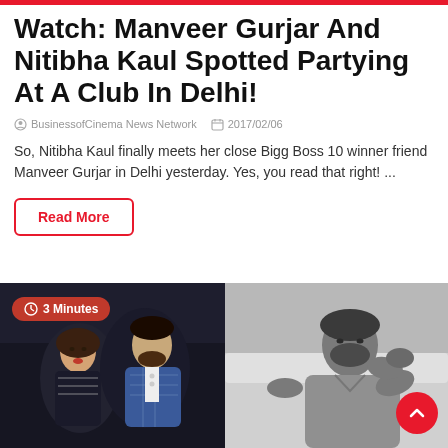Watch: Manveer Gurjar And Nitibha Kaul Spotted Partying At A Club In Delhi!
BusinessofCinema News Network   2017/02/06
So, Nitibha Kaul finally meets her close Bigg Boss 10 winner friend Manveer Gurjar in Delhi yesterday. Yes, you read that right! ...
Read More
[Figure (photo): Photo of a couple at a club — woman with short hair smiling, man in blue checked jacket, dark background. Badge showing '3 Minutes' in red.]
[Figure (photo): Black and white photo of a man lying back relaxing on a bed, wearing a polo shirt.]